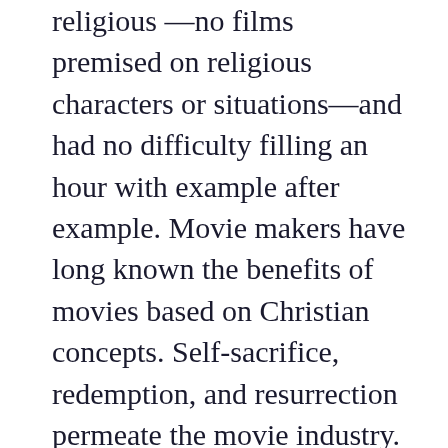religious —no films premised on religious characters or situations—and had no difficulty filling an hour with example after example. Movie makers have long known the benefits of movies based on Christian concepts. Self-sacrifice, redemption, and resurrection permeate the movie industry. This is a Christian culture. The parallels between Superman and Jesus have long been noted by critics of religious imagery in